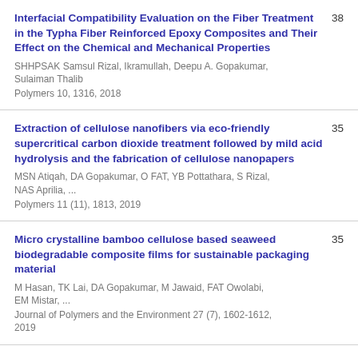Interfacial Compatibility Evaluation on the Fiber Treatment in the Typha Fiber Reinforced Epoxy Composites and Their Effect on the Chemical and Mechanical Properties | SHHPSAK Samsul Rizal, Ikramullah, Deepu A. Gopakumar, Sulaiman Thalib | Polymers 10, 1316, 2018 | 38
Extraction of cellulose nanofibers via eco-friendly supercritical carbon dioxide treatment followed by mild acid hydrolysis and the fabrication of cellulose nanopapers | MSN Atiqah, DA Gopakumar, O FAT, YB Pottathara, S Rizal, NAS Aprilia, ... | Polymers 11 (11), 1813, 2019 | 35
Micro crystalline bamboo cellulose based seaweed biodegradable composite films for sustainable packaging material | M Hasan, TK Lai, DA Gopakumar, M Jawaid, FAT Owolabi, EM Mistar, ... | Journal of Polymers and the Environment 27 (7), 1602-1612, 2019 | 35